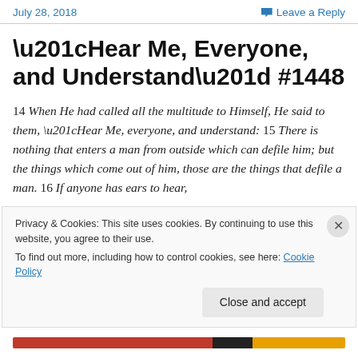July 28, 2018 | Leave a Reply
“Hear Me, Everyone, and Understand” #1448
14 When He had called all the multitude to Himself, He said to them, “Hear Me, everyone, and understand: 15 There is nothing that enters a man from outside which can defile him; but the things which come out of him, those are the things that defile a man. 16 If anyone has ears to hear,
Privacy & Cookies: This site uses cookies. By continuing to use this website, you agree to their use.
To find out more, including how to control cookies, see here: Cookie Policy
Close and accept